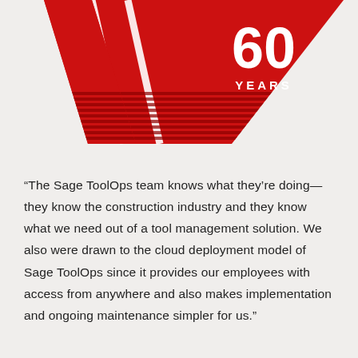[Figure (logo): Red diamond/chevron shaped logo with '60 YEARS' text in white. The logo features a downward-pointing triangular shape with diagonal white stripe lines across it, with large bold '60' and 'YEARS' text on the right side.]
“The Sage ToolOps team knows what they’re doing— they know the construction industry and they know what we need out of a tool management solution. We also were drawn to the cloud deployment model of Sage ToolOps since it provides our employees with access from anywhere and also makes implementation and ongoing maintenance simpler for us.”